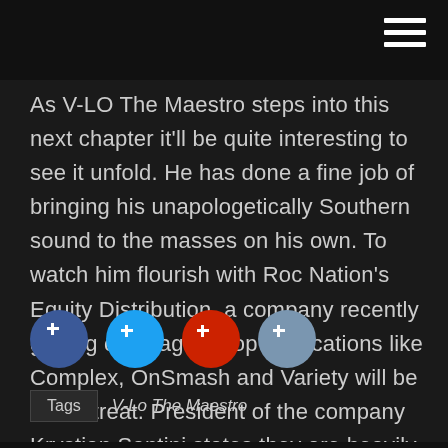As V-LO The Maestro steps into this next chapter it'll be quite interesting to see it unfold. He has done a fine job of bringing his unapologetically Southern sound to the masses on his own. To watch him flourish with Roc Nation's Equity Distribution, a company recently getting coverage in top publications like Complex, OnSmash and Variety will be a real treat. President of the company Krystian Santini states they are heavily focused on breaking artists and this gives them yet another chance to do so.
[Figure (infographic): Four social media share buttons displayed as colored circles: Facebook (blue), Twitter (light blue), Google+ (red), and LinkedIn (gray-blue)]
Tags  V-Lo The Maestro